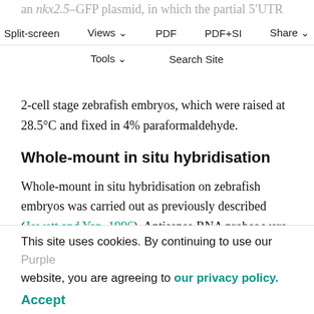an nkx2.5-GFP plasmid, in which the partial 5′UTR and full-coding sequence of the gene, minus the stop codon were placed immediately upstream of the coding sequence of GFP. Full length, capped RNA (50 pg) was injected into 1- to 2-cell stage zebrafish embryos, which were raised at 28.5°C and fixed in 4% paraformaldehyde.
Split-screen | Views | PDF | PDF+SI | Share | Tools | Search Site
Whole-mount in situ hybridisation
Whole-mount in situ hybridisation on zebrafish embryos was carried out as previously described (Jowett and Yan, 1996). Antisense RNA probes were transcribed from linearised templates in the presence of digoxigenin (DIG) or fluorescein labeled nucleotides (Roche). DIG and
This site uses cookies. By continuing to use our website, you are agreeing to our privacy policy. Accept
TUNEL and antibody assays